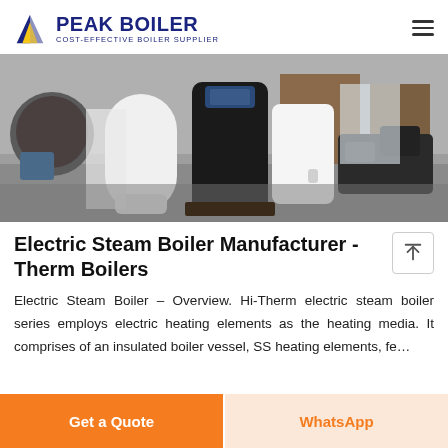PEAK BOILER – COST-EFFECTIVE BOILER SUPPLIER
[Figure (photo): Industrial workshop showing electric steam boilers – white cylindrical units and black unit with control panel, plus industrial equipment in background]
Electric Steam Boiler Manufacturer - Therm Boilers
Electric Steam Boiler – Overview. Hi-Therm electric steam boiler series employs electric heating elements as the heating media. It comprises of an insulated boiler vessel, SS heating elements, fe…